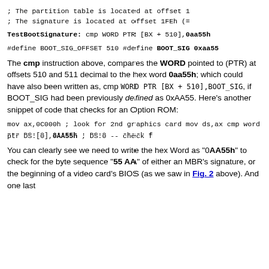; The partition table is located at offset 1
; The signature is located at offset 1FEh (=
TestBootSignature:
        cmp      WORD PTR [BX + 510],0aa55h
#define BOOT_SIG_OFFSET    510
#define BOOT_SIG           0xaa55
The cmp instruction above, compares the WORD pointed to (PTR) at offsets 510 and 511 decimal to the hex word 0aa55h; which could have also been written as, cmp WORD PTR [BX + 510],BOOT_SIG, if BOOT_SIG had been previously defined as 0xAA55. Here's another snippet of code that checks for an Option ROM:
mov ax,0C000h   ; look for 2nd graphics card
mov ds,ax
cmp word ptr DS:[0],0AA55h ; DS:0 -- check f
You can clearly see we need to write the hex Word as "0AA55h" to check for the byte sequence "55 AA" of either an MBR's signature, or the beginning of a video card's BIOS (as we saw in Fig. 2 above). And one last